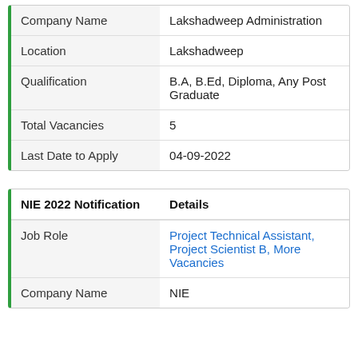|  |  |
| --- | --- |
| Company Name | Lakshadweep Administration |
| Location | Lakshadweep |
| Qualification | B.A, B.Ed, Diploma, Any Post Graduate |
| Total Vacancies | 5 |
| Last Date to Apply | 04-09-2022 |
| NIE 2022 Notification | Details |
| --- | --- |
| Job Role | Project Technical Assistant, Project Scientist B, More Vacancies |
| Company Name | NIE |